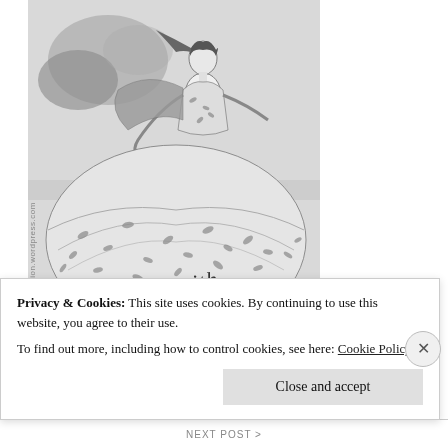[Figure (illustration): Vintage fashion illustration in black and white showing an elegant woman in a floral/leaf-patterned full-skirted dress, posed dramatically with wind-blown hair and cape. Stylized script text reads 'Coupling with Smartness' integrated into the skirt area. Watermark text 'witness2fashion.wordpress.com' runs vertically along the left edge.]
Privacy & Cookies: This site uses cookies. By continuing to use this website, you agree to their use.
To find out more, including how to control cookies, see here: Cookie Policy
Close and accept